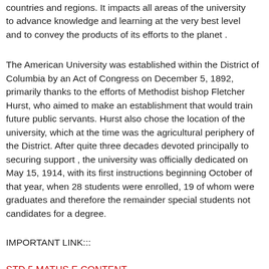countries and regions. It impacts all areas of the university to advance knowledge and learning at the very best level and to convey the products of its efforts to the planet .
The American University was established within the District of Columbia by an Act of Congress on December 5, 1892, primarily thanks to the efforts of Methodist bishop Fletcher Hurst, who aimed to make an establishment that would train future public servants. Hurst also chose the location of the university, which at the time was the agricultural periphery of the District. After quite three decades devoted principally to securing support , the university was officially dedicated on May 15, 1914, with its first instructions beginning October of that year, when 28 students were enrolled, 19 of whom were graduates and therefore the remainder special students not candidates for a degree.
IMPORTANT LINK:::
STD 5 MATHS E CONTENT